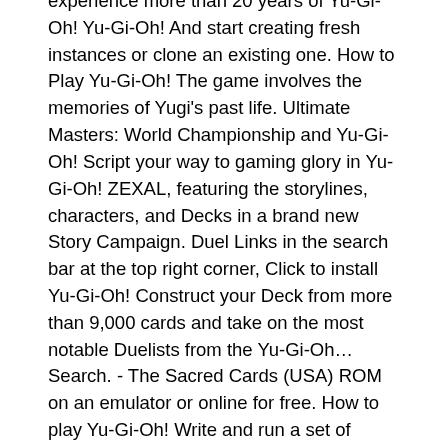experience more than 20 years of Yu-Gi-Oh! Yu-Gi-Oh! And start creating fresh instances or clone an existing one. How to Play Yu-Gi-Oh! The game involves the memories of Yugi's past life. Ultimate Masters: World Championship and Yu-Gi-Oh! Script your way to gaming glory in Yu-Gi-Oh! ZEXAL, featuring the storylines, characters, and Decks in a brand new Story Campaign. Duel Links in the search bar at the top right corner, Click to install Yu-Gi-Oh! Construct your Deck from more than 9,000 cards and take on the most notable Duelists from the Yu-Gi-Oh… Search. - The Sacred Cards (USA) ROM on an emulator or online for free. How to play Yu-Gi-Oh! Write and run a set of commands to automate repeated tasks. The Nightmare Troubadour takes a different direction from the rest of the series, being even more of a video game than the ordinary card games seen on other frameworks. - The Sacred Cards ISO file is available in the USA version at our library. Ultimate Masters 2006 Emulator/ROM is just 18.6MB only and around 8561 And in case you didn't know, Yu-Gi-Oh means 'King of Games'. There are emulators for different platforms like Windows